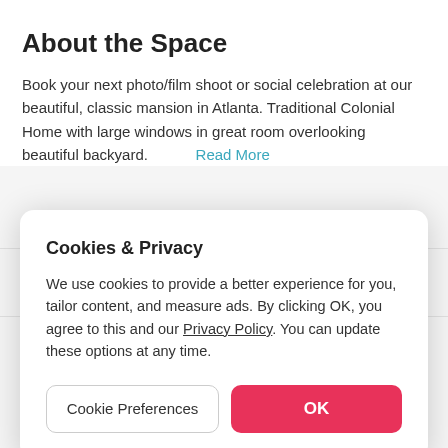About the Space
Book your next photo/film shoot or social celebration at our beautiful, classic mansion in Atlanta. Traditional Colonial Home with large windows in great room overlooking beautiful backyard.  Read More
Cookies & Privacy
We use cookies to provide a better experience for you, tailor content, and measure ads. By clicking OK, you agree to this and our Privacy Policy. You can update these options at any time.
Cookie Preferences
OK
Included in your booking